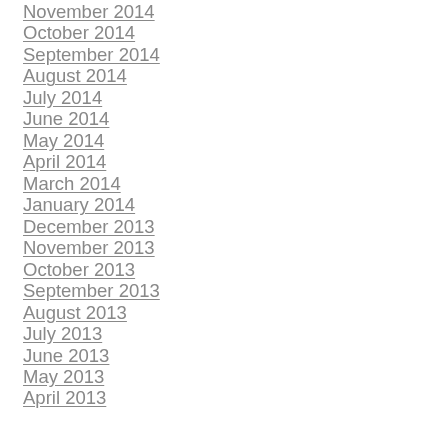November 2014
October 2014
September 2014
August 2014
July 2014
June 2014
May 2014
April 2014
March 2014
January 2014
December 2013
November 2013
October 2013
September 2013
August 2013
July 2013
June 2013
May 2013
April 2013